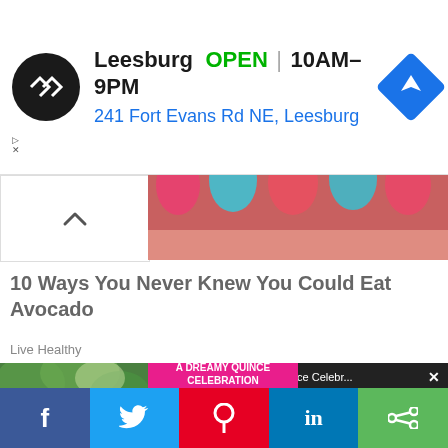[Figure (screenshot): Advertisement banner for a store in Leesburg showing logo, open status, hours (10AM-9PM), address (241 Fort Evans Rd NE, Leesburg), and a navigation icon]
[Figure (photo): Close-up image of colorful fingernails/manicure in pink and teal]
10 Ways You Never Knew You Could Eat Avocado
Live Healthy
[Figure (screenshot): Video overlay showing 'Top Videos: - A Dreamy Quince Celebr...' with a split thumbnail and pink label 'A DREAMY QUINCE CELEBRATION' and a mute icon]
[Figure (photo): Left side: outdoor nature photo with person's arm/hand visible]
f  Twitter  Pinterest  in  Share social media buttons bar